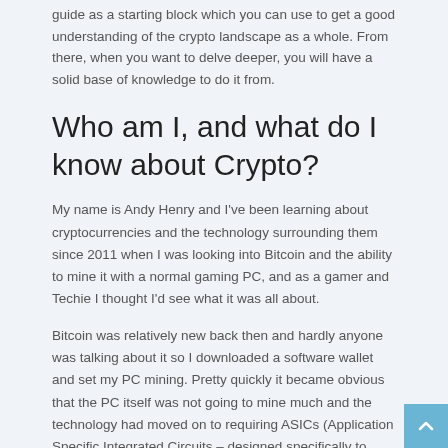guide as a starting block which you can use to get a good understanding of the crypto landscape as a whole. From there, when you want to delve deeper, you will have a solid base of knowledge to do it from.
Who am I, and what do I know about Crypto?
My name is Andy Henry and I've been learning about cryptocurrencies and the technology surrounding them since 2011 when I was looking into Bitcoin and the ability to mine it with a normal gaming PC, and as a gamer and Techie I thought I'd see what it was all about.
Bitcoin was relatively new back then and hardly anyone was talking about it so I downloaded a software wallet and set my PC mining. Pretty quickly it became obvious that the PC itself was not going to mine much and the technology had moved on to requiring ASICs (Application Specific Integrated Circuits – designed specifically to mine Bitcoin), so I checked out what was available and did